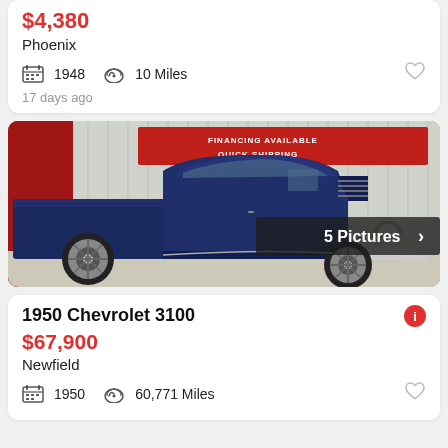$4,380
Phoenix
1948  10 Miles
17 days ago
[Figure (photo): Dark navy blue 1950 Chevrolet 3100 pickup truck, custom/restored, photographed in front of a dealership with red sign reading FINANCING AVAILABLE and QUICK SHIPPING. Badge says 5 Pictures.]
1950 Chevrolet 3100
$67,900
Newfield
1950  60,771 Miles